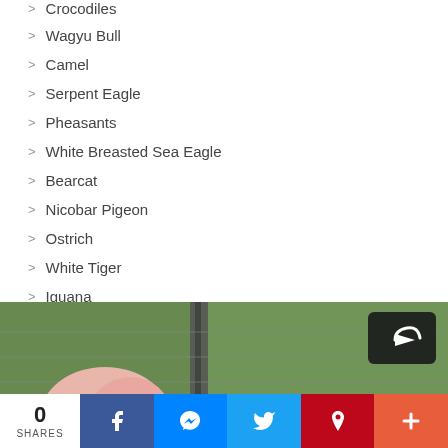Crocodiles
Wagyu Bull
Camel
Serpent Eagle
Pheasants
White Breasted Sea Eagle
Bearcat
Nicobar Pigeon
Ostrich
White Tiger
Iguana
[Figure (photo): A blurred photo of an animal (appears to be a pink/white bird like a flamingo) in front of a green blurred background with a pole visible]
0 SHARES